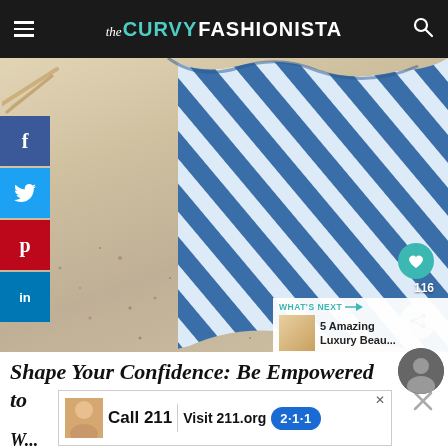the CURVY FASHIONISTA
[Figure (photo): Close-up photo of blue and white striped fabric/swimsuit on sandy surface with social share buttons on the left sidebar, heart (116) and share icons on the right, and a 'What's Next' banner showing '5 Amazing Luxury Beau...']
Shape Your Confidence: Be Empowered to
[Figure (screenshot): Advertisement banner: 'Call 211 | Visit 211.org' with 2-1-1 logo badge, child photo thumbnail, and close button]